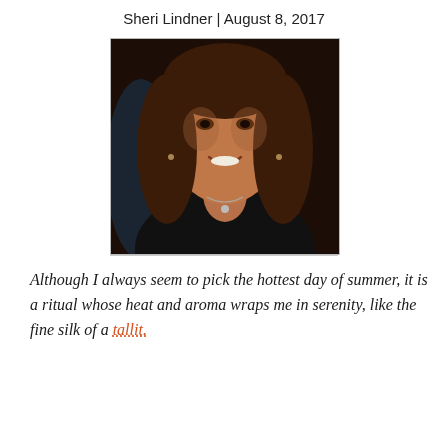Sheri Lindner | August 8, 2017
[Figure (photo): Portrait photo of Sheri Lindner, a woman with long brown hair, smiling, wearing a necklace, against a dark background.]
Although I always seem to pick the hottest day of summer, it is a ritual whose heat and aroma wraps me in serenity, like the fine silk of a tallit.